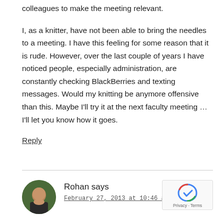colleagues to make the meeting relevant.
I, as a knitter, have not been able to bring the needles to a meeting. I have this feeling for some reason that it is rude. However, over the last couple of years I have noticed people, especially administration, are constantly checking BlackBerries and texting messages. Would my knitting be anymore offensive than this. Maybe I'll try it at the next faculty meeting … I'll let you know how it goes.
Reply
Rohan says
February 27, 2013 at 10:46 am